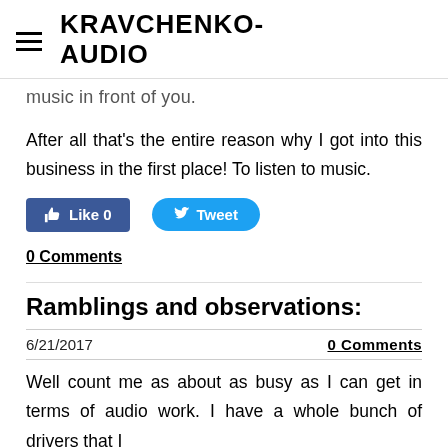KRAVCHENKO-AUDIO
music in front of you.
After all that's the entire reason why I got into this business in the first place! To listen to music.
[Figure (other): Social media buttons: Facebook Like (0) and Twitter Tweet]
0 Comments
Ramblings and observations:
6/21/2017   0 Comments
Well count me as about as busy as I can get in terms of audio work. I have a whole bunch of drivers that I